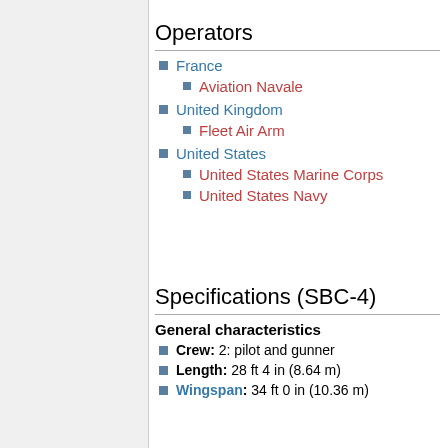Operators
France
Aviation Navale
United Kingdom
Fleet Air Arm
United States
United States Marine Corps
United States Navy
Specifications (SBC-4)
General characteristics
Crew: 2: pilot and gunner
Length: 28 ft 4 in (8.64 m)
Wingspan: 34 ft 0 in (10.36 m)